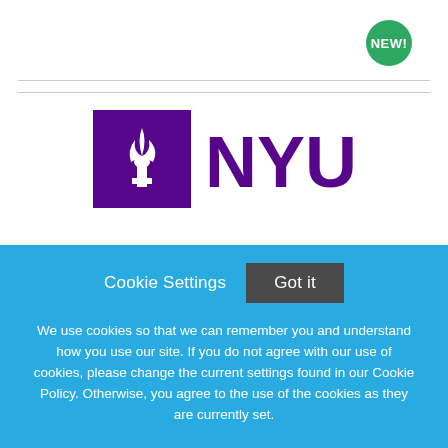[Figure (logo): NYU logo: purple square with white torch icon on left, 'NYU' text in purple on right]
Research Associate in the Division of Science (Biology) - Dr. Kirsten Edepli
Cookie Settings   Got it
We use cookies so that we can remember you and understand how you use our site. If you do not agree with our use of cookies, please change the current settings found in our Cookie Policy. Otherwise, you agree to the use of the cookies as they are currently set.